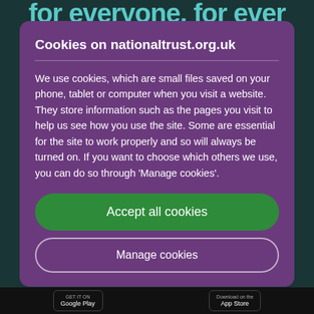for everyone, for ever
Cookies on nationaltrust.org.uk
We use cookies, which are small files saved on your phone, tablet or computer when you visit a website. They store information such as the pages you visit to help us see how you use the site. Some are essential for the site to work properly and so will always be turned on. If you want to choose which others we use, you can do so through 'Manage cookies'.
Accept all cookies
Manage cookies
GET IT ON | Download on the